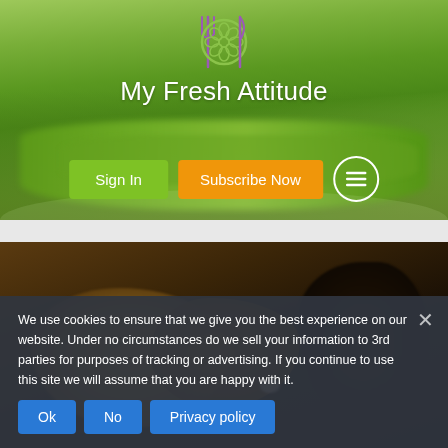[Figure (screenshot): Website hero section with green vegetable background (bowl of green beans/asparagus), restaurant/food app logo with fork and knife icons and decorative flower, site title 'My Fresh Attitude', Sign In and Subscribe Now buttons, and hamburger menu icon]
[Figure (photo): Close-up blurred photo of potatoes and a dark-colored food item on a wooden surface]
We use cookies to ensure that we give you the best experience on our website. Under no circumstances do we sell your information to 3rd parties for purposes of tracking or advertising. If you continue to use this site we will assume that you are happy with it.
Ok
No
Privacy policy